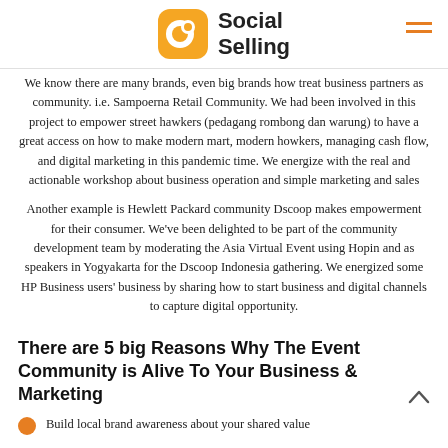Social Selling
We know there are many brands, even big brands how treat business partners as community. i.e. Sampoerna Retail Community. We had been involved in this project to empower street hawkers (pedagang rombong dan warung) to have a great access on how to make modern mart, modern howkers, managing cash flow, and digital marketing in this pandemic time. We energize with the real and actionable workshop about business operation and simple marketing and sales
Another example is Hewlett Packard community Dscoop makes empowerment for their consumer. We've been delighted to be part of the community development team by moderating the Asia Virtual Event using Hopin and as speakers in Yogyakarta for the Dscoop Indonesia gathering. We energized some HP Business users' business by sharing how to start business and digital channels to capture digital opportunity.
There are 5 big Reasons Why The Event Community is Alive To Your Business & Marketing
Build local brand awareness about your shared value